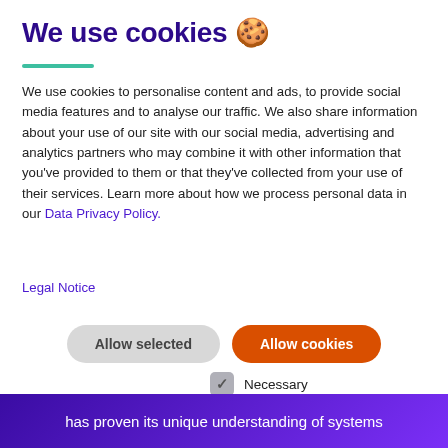We use cookies 🍪
We use cookies to personalise content and ads, to provide social media features and to analyse our traffic. We also share information about your use of our site with our social media, advertising and analytics partners who may combine it with other information that you've provided to them or that they've collected from your use of their services. Learn more about how we process personal data in our Data Privacy Policy.
Legal Notice
Allow selected | Allow cookies
Necessary (checked)
Preferences
Statistics
Marketing
Show details ▾
has proven its unique understanding of systems